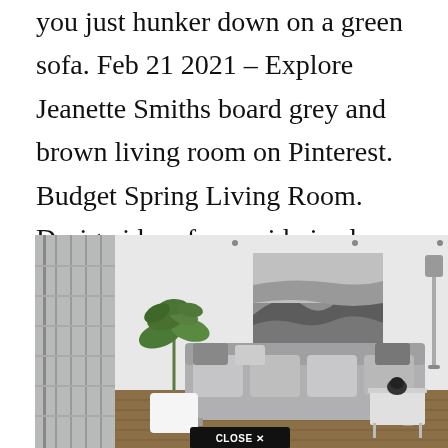you just hunker down on a green sofa. Feb 21 2021 - Explore Jeanette Smiths board grey and brown living room on Pinterest. Budget Spring Living Room. Design ideas for a mid-sized contemporary kids room for girls in Sydney with blue walls.
[Figure (photo): Interior photo of a modern Scandinavian-style living room with grey sofa, large potted plant, black-and-white coastal landscape artwork on wall, floor lamp, and sliding glass doors to balcony. A 'CLOSE X' button overlay appears at the bottom center.]